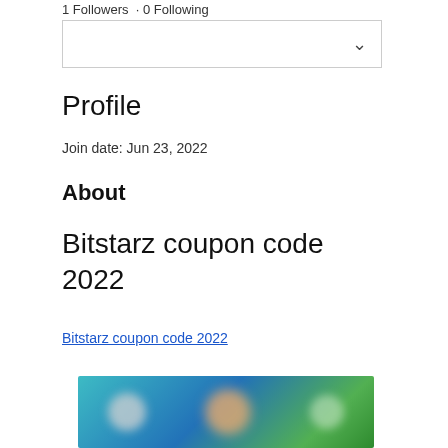1 Followers  · 0 Following
[Figure (other): Dropdown/select box UI element with a chevron arrow icon on the right]
Profile
Join date: Jun 23, 2022
About
Bitstarz coupon code 2022
Bitstarz coupon code 2022
[Figure (photo): Blurred/obscured promotional image with colorful background (teal, blue, green) and blurred circular figures]